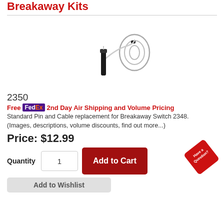Breakaway Kits
[Figure (photo): Product photo of a breakaway pin and cable kit — a black cylindrical handle/pin with a light grey cable looped and bundled with a black tie.]
2350
Free FedEx 2nd Day Air Shipping and Volume Pricing
Standard Pin and Cable replacement for Breakaway Switch 2348. (Images, descriptions, volume discounts, find out more...)
Price: $12.99
Quantity  1  Add to Cart
Add to Wishlist